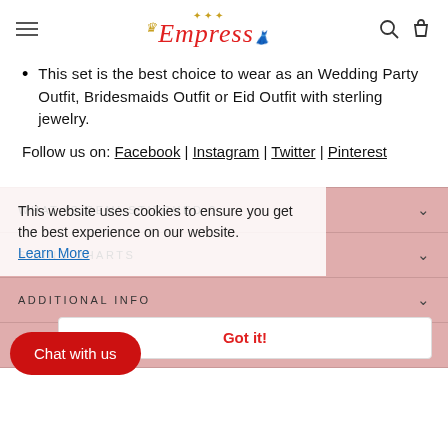Empress (logo with hamburger menu, search and bag icons)
This set is the best choice to wear as an Wedding Party Outfit, Bridesmaids Outfit or Eid Outfit with sterling jewelry.
Follow us on: Facebook | Instagram | Twitter | Pinterest
WHAT IS SEMI STITCHED ?
SIZING CHARTS
ADDITIONAL INFO
MORE ABOUT THIS PRODUCT
This website uses cookies to ensure you get the best experience on our website. Learn More
Got it!
Chat with us